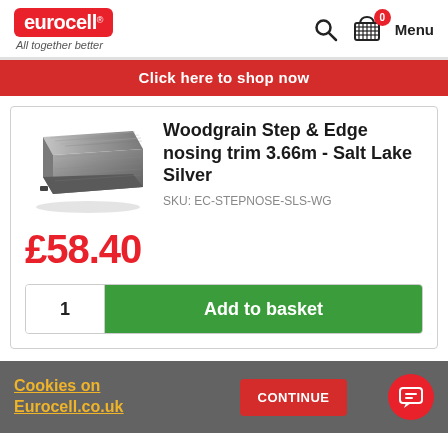[Figure (logo): Eurocell logo in red rounded rectangle with tagline 'All together better']
Menu
Click here to shop now
Woodgrain Step & Edge nosing trim 3.66m - Salt Lake Silver
SKU: EC-STEPNOSE-SLS-WG
£58.40
1  Add to basket
Cookies on Eurocell.co.uk
CONTINUE